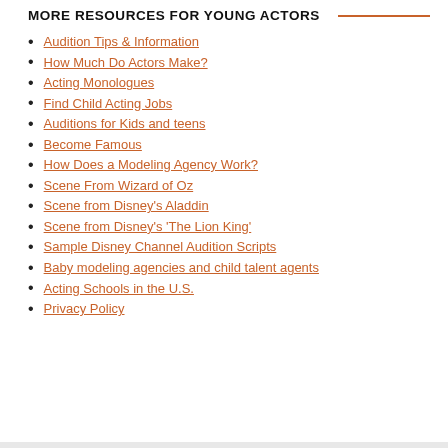MORE RESOURCES FOR YOUNG ACTORS
Audition Tips & Information
How Much Do Actors Make?
Acting Monologues
Find Child Acting Jobs
Auditions for Kids and teens
Become Famous
How Does a Modeling Agency Work?
Scene From Wizard of Oz
Scene from Disney's Aladdin
Scene from Disney's 'The Lion King'
Sample Disney Channel Audition Scripts
Baby modeling agencies and child talent agents
Acting Schools in the U.S.
Privacy Policy